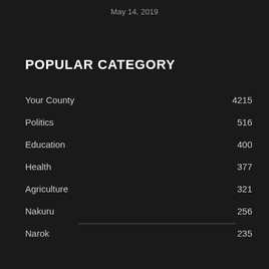May 14, 2019
POPULAR CATEGORY
Your County    4215
Politics    516
Education    400
Health    377
Agriculture    321
Nakuru    256
Narok    235